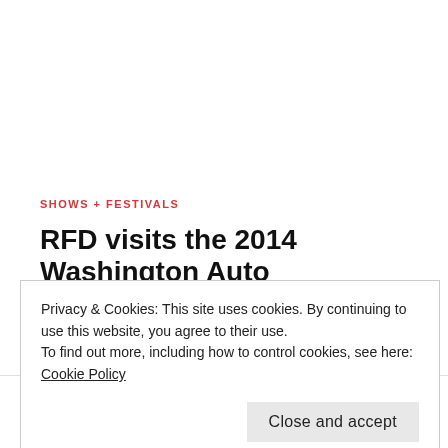SHOWS + FESTIVALS
RFD visits the 2014 Washington Auto
Privacy & Cookies: This site uses cookies. By continuing to use this website, you agree to their use.
To find out more, including how to control cookies, see here:
Cookie Policy
Close and accept